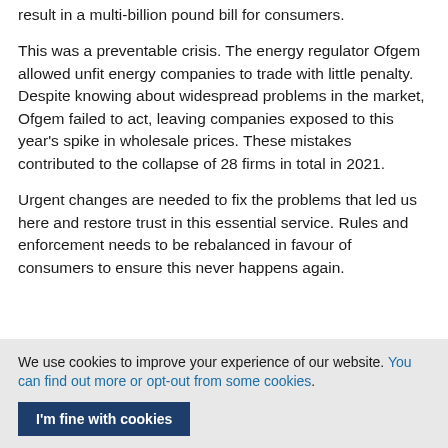result in a multi-billion pound bill for consumers.
This was a preventable crisis. The energy regulator Ofgem allowed unfit energy companies to trade with little penalty. Despite knowing about widespread problems in the market, Ofgem failed to act, leaving companies exposed to this year's spike in wholesale prices. These mistakes contributed to the collapse of 28 firms in total in 2021.
Urgent changes are needed to fix the problems that led us here and restore trust in this essential service. Rules and enforcement needs to be rebalanced in favour of consumers to ensure this never happens again.
We use cookies to improve your experience of our website. You can find out more or opt-out from some cookies.